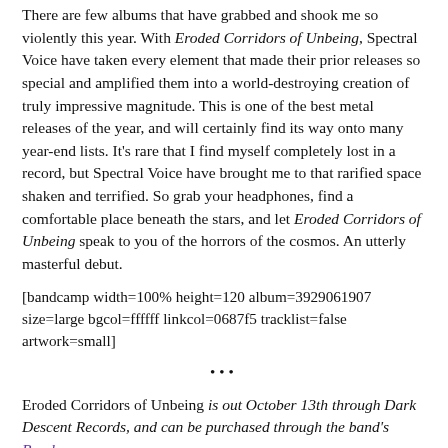There are few albums that have grabbed and shook me so violently this year. With Eroded Corridors of Unbeing, Spectral Voice have taken every element that made their prior releases so special and amplified them into a world-destroying creation of truly impressive magnitude. This is one of the best metal releases of the year, and will certainly find its way onto many year-end lists. It's rare that I find myself completely lost in a record, but Spectral Voice have brought me to that rarified space shaken and terrified. So grab your headphones, find a comfortable place beneath the stars, and let Eroded Corridors of Unbeing speak to you of the horrors of the cosmos. An utterly masterful debut.
[bandcamp width=100% height=120 album=3929061907 size=large bgcol=ffffff linkcol=0687f5 tracklist=false artwork=small]
...
Eroded Corridors of Unbeing is out October 13th through Dark Descent Records, and can be purchased through the band's Bandcamp page.